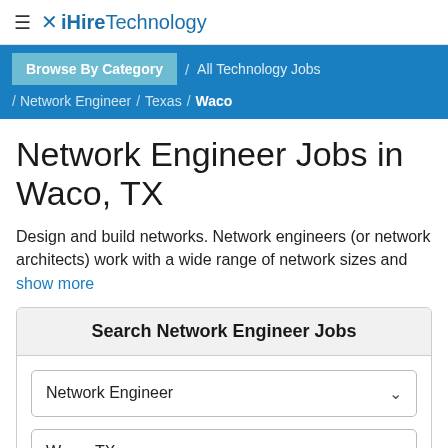iHire Technology
Browse By Category / All Technology Jobs / Network Engineer / Texas / Waco
Network Engineer Jobs in Waco, TX
Design and build networks. Network engineers (or network architects) work with a wide range of network sizes and
show more
Search Network Engineer Jobs
Network Engineer
Waco, TX